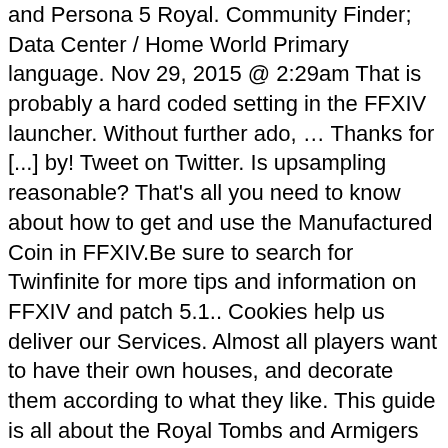and Persona 5 Royal. Community Finder; Data Center / Home World Primary language. Nov 29, 2015 @ 2:29am That is probably a hard coded setting in the FFXIV launcher. Without further ado, … Thanks for [...] by! Tweet on Twitter. Is upsampling reasonable? That's all you need to know about how to get and use the Manufactured Coin in FFXIV.Be sure to search for Twinfinite for more tips and information on FFXIV and patch 5.1.. Cookies help us deliver our Services. Almost all players want to have their own houses, and decorate them according to what they like. This guide is all about the Royal Tombs and Armigers (or Royal Arms) in FFXV. She then sells the transcrips to collectors.You can find out more about this in the 60-70 SMN quests. Gallery) is a menu option added to Final Fantasy XV in patches. I'll kill you. Press question mark to learn the rest of the keyboard shortcuts. It sounds like it could be awesome to me. ※The Portable Archive is now available under Collection in the Duty section of the main menu. And if they did would you play on tbe go? And we go back to another episode in this episode. A community for fans of Square Enix's